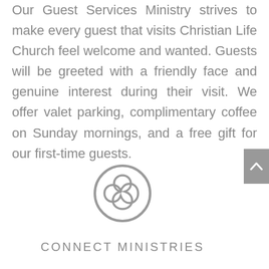Our Guest Services Ministry strives to make every guest that visits Christian Life Church feel welcome and wanted. Guests will be greeted with a friendly face and genuine interest during their visit. We offer valet parking, complimentary coffee on Sunday mornings, and a free gift for our first-time guests.
[Figure (logo): Circular grey logo with an interlocking knot/X pattern inside a circle border]
CONNECT MINISTRIES